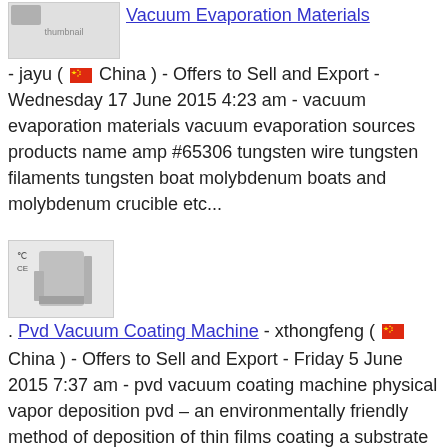Vacuum Evaporation Materials - jayu ( China ) - Offers to Sell and Export - Wednesday 17 June 2015 4:23 am - vacuum evaporation materials vacuum evaporation sources products name amp #65306 tungsten wire tungsten filaments tungsten boat molybdenum boats and molybdenum crucible etc...
Pvd Vacuum Coating Machine - xthongfeng ( China ) - Offers to Sell and Export - Friday 5 June 2015 7:37 am - pvd vacuum coating machine physical vapor deposition pvd – an environmentally friendly method of deposition of thin films coating a substrate with a vaporized form of desir...
[Figure (photo): No Photo placeholder thumbnail at bottom]